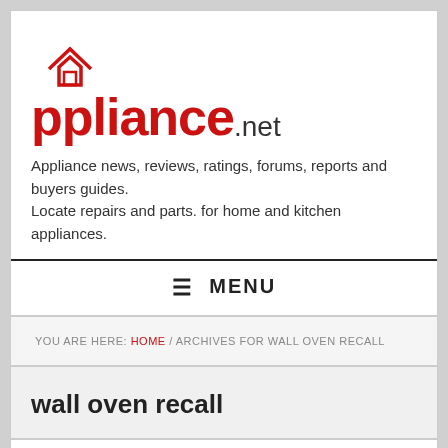[Figure (logo): Appliance.net logo with red house-shaped letter A and large red Appliance text followed by .net in black]
Appliance news, reviews, ratings, forums, reports and buyers guides.
Locate repairs and parts. for home and kitchen appliances.
≡ MENU
YOU ARE HERE: HOME / ARCHIVES FOR WALL OVEN RECALL
wall oven recall
Recall: BlueStar Wall Ovens by